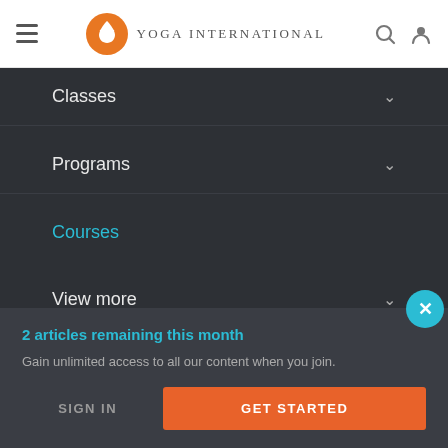Yoga International
Classes
Programs
Courses
View more
2 articles remaining this month
Gain unlimited access to all our content when you join.
SIGN IN
GET STARTED